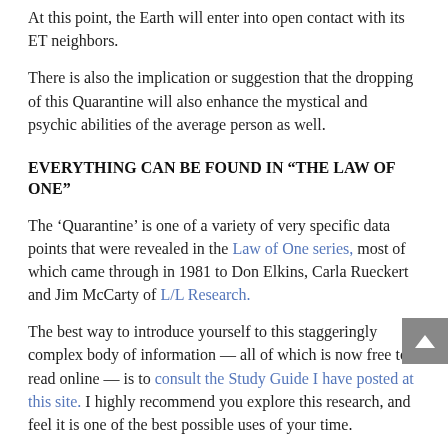At this point, the Earth will enter into open contact with its ET neighbors.
There is also the implication or suggestion that the dropping of this Quarantine will also enhance the mystical and psychic abilities of the average person as well.
EVERYTHING CAN BE FOUND IN “THE LAW OF ONE”
The ‘Quarantine’ is one of a variety of very specific data points that were revealed in the Law of One series, most of which came through in 1981 to Don Elkins, Carla Rueckert and Jim McCarty of L/L Research.
The best way to introduce yourself to this staggeringly complex body of information — all of which is now free to read online — is to consult the Study Guide I have posted at this site. I highly recommend you explore this research, and feel it is one of the best possible uses of your time.
I have pointed out to several insiders now that everything